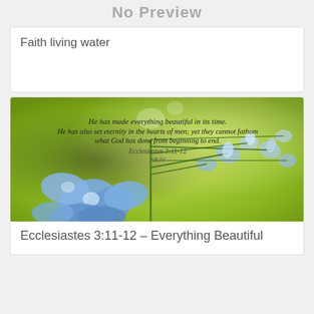No Preview
Faith living water
[Figure (photo): Blue delphinium flowers on green background with Bible verse text: 'He has made everything beautiful in its time. He has also set eternity in the hearts of men; yet they cannot fathom what God has done from beginning to end. Ecclesiastes 3:11-12 NKJV']
Ecclesiastes 3:11-12 – Everything Beautiful